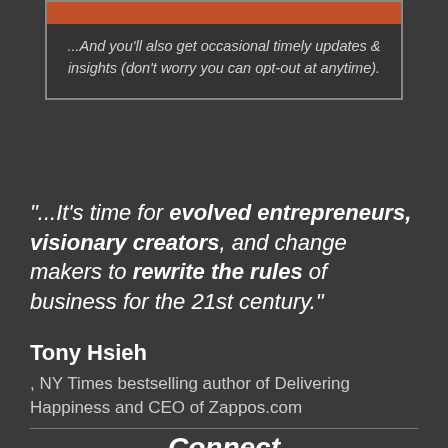...And you'll also get occasional timely updates & insights (don't worry you can opt-out at anytime).
"...It's time for evolved entrepreneurs, visionary creators, and change makers to rewrite the rules of business for the 21st century."
Tony Hsieh
, NY Times bestselling author of Delivering Happiness and CEO of Zappos.com
Connect